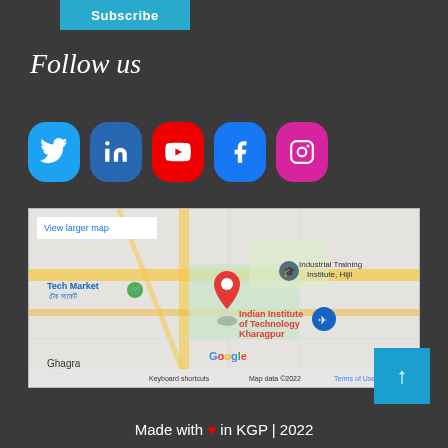[Figure (other): Subscribe button in teal/cyan color]
Follow us
[Figure (infographic): Social media icon buttons: Twitter (blue), LinkedIn (dark blue), YouTube (red), Facebook (blue), Instagram (pink/magenta)]
[Figure (map): Google Map showing Indian Institute of Technology Kharagpur location, with Tech Market, Industrial Training Institute Hijli, Ghagra area visible. Shows 'View larger map' link and map footer with keyboard shortcuts, Map data 2022, Terms of Use.]
[Figure (other): Back to top button - teal square with upward arrow]
Made with ♥ in KGP | 2022